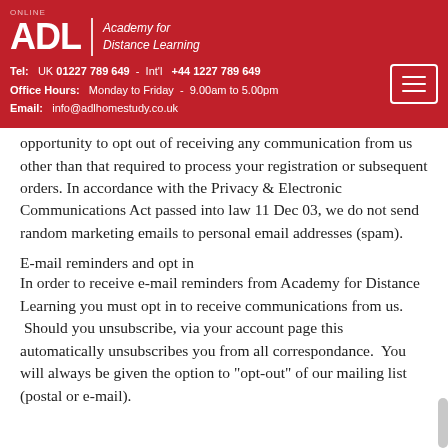ADL | Academy for Distance Learning
Tel: UK 01227 789 649 - Int'l +44 1227 789 649
Office Hours: Monday to Friday - 9.00am to 5.00pm
Email: info@adlhomestudy.co.uk
opportunity to opt out of receiving any communication from us other than that required to process your registration or subsequent orders. In accordance with the Privacy & Electronic Communications Act passed into law 11 Dec 03, we do not send random marketing emails to personal email addresses (spam).
E-mail reminders and opt in
In order to receive e-mail reminders from Academy for Distance Learning you must opt in to receive communications from us.  Should you unsubscribe, via your account page this automatically unsubscribes you from all correspondance.  You will always be given the option to "opt-out" of our mailing list (postal or e-mail).